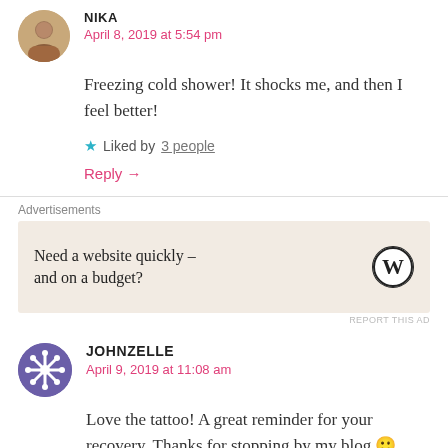[Figure (photo): Avatar photo of commenter Nika, small circular profile image]
NIKA
April 8, 2019 at 5:54 pm
Freezing cold shower! It shocks me, and then I feel better!
★ Liked by 3 people
Reply →
Advertisements
[Figure (screenshot): Advertisement box with beige background: 'Need a website quickly – and on a budget?' with WordPress logo]
REPORT THIS AD
[Figure (logo): Avatar icon of commenter Johnzelle, purple snowflake-like circular icon]
JOHNZELLE
April 9, 2019 at 11:08 am
Love the tattoo! A great reminder for your recovery. Thanks for stopping by my blog 🙂